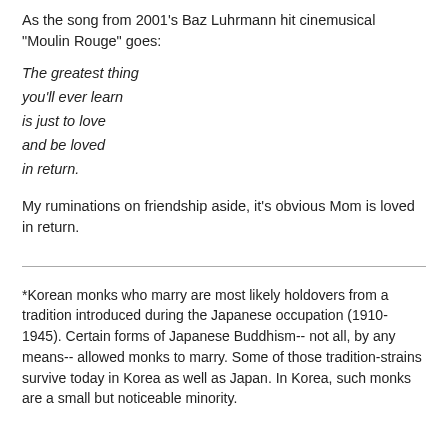As the song from 2001's Baz Luhrmann hit cinemusical "Moulin Rouge" goes:
The greatest thing
you'll ever learn
is just to love
and be loved
in return.
My ruminations on friendship aside, it's obvious Mom is loved in return.
*Korean monks who marry are most likely holdovers from a tradition introduced during the Japanese occupation (1910-1945). Certain forms of Japanese Buddhism-- not all, by any means-- allowed monks to marry. Some of those tradition-strains survive today in Korea as well as Japan. In Korea, such monks are a small but noticeable minority.